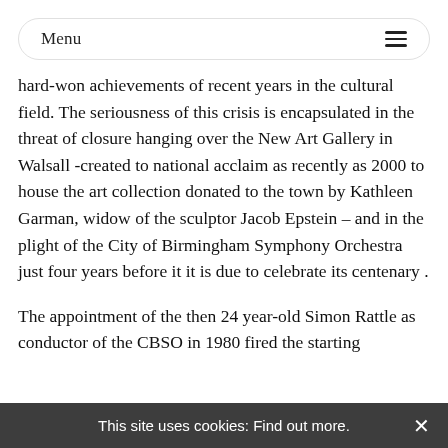Menu
hard-won achievements of recent years in the cultural field. The seriousness of this crisis is encapsulated in the threat of closure hanging over the New Art Gallery in Walsall -created to national acclaim as recently as 2000 to house the art collection donated to the town by Kathleen Garman, widow of the sculptor Jacob Epstein – and in the plight of the City of Birmingham Symphony Orchestra just four years before it it is due to celebrate its centenary .
The appointment of the then 24 year-old Simon Rattle as conductor of the CBSO in 1980 fired the starting
This site uses cookies: Find out more. ×